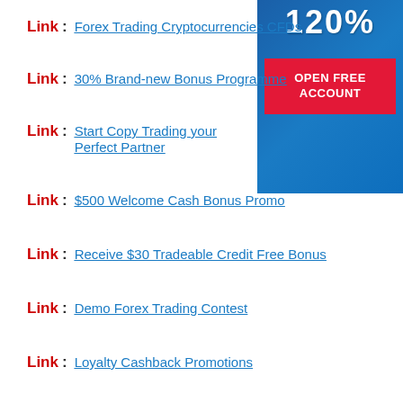[Figure (infographic): Dark blue banner with '120%' text and red 'OPEN FREE ACCOUNT' button]
Link: Forex Trading Cryptocurrencies CFDs
Link: 30% Brand-new Bonus Programme
Link: Start Copy Trading your Perfect Partner
Link: $500 Welcome Cash Bonus Promo
Link: Receive $30 Tradeable Credit Free Bonus
Link: Demo Forex Trading Contest
Link: Loyalty Cashback Promotions
Link: 200% Withdraw able Cashback Rebates
Link: Titans Forex Demo Trading Contest